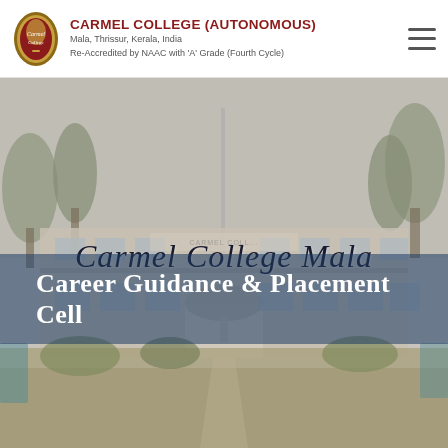CARMEL COLLEGE (AUTONOMOUS)
Mala, Thrissur, Kerala, India
Re-Accredited by NAAC with 'A' Grade (Fourth Cycle)
[Figure (photo): Carmel College Mala building exterior with palm trees, gardens, and a flagpole. A script-style text 'Carmel College Mala' overlays the upper portion of the image.]
Career Guidance & Placement Cell